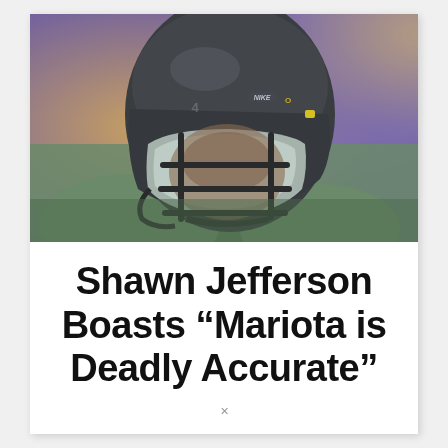[Figure (photo): Close-up photo of a football player wearing a dark metallic helmet with a face mask, seen from the front. The player wears a green jersey. The background is blurred.]
Shawn Jefferson Boasts “Mariota is Deadly Accurate”